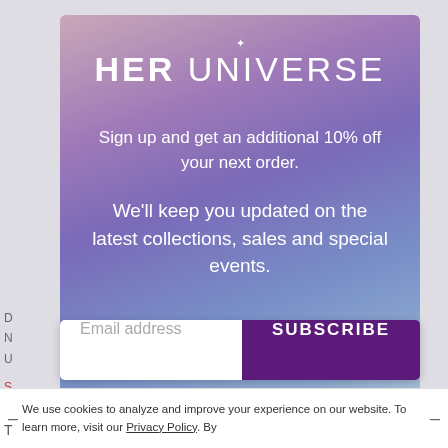[Figure (screenshot): Her Universe email subscription modal popup with pink-purple-blue gradient background. Contains brand logo 'HER UNIVERSE', promotional text about 10% off next order, and email subscription form with subscribe button.]
HER UNIVERSE
Sign up and get an additional 10% off your next order.
We'll keep you updated on the latest collections, sales and special events.
Email address
SUBSCRIBE
We use cookies to analyze and improve your experience on our website. To learn more, visit our Privacy Policy. By